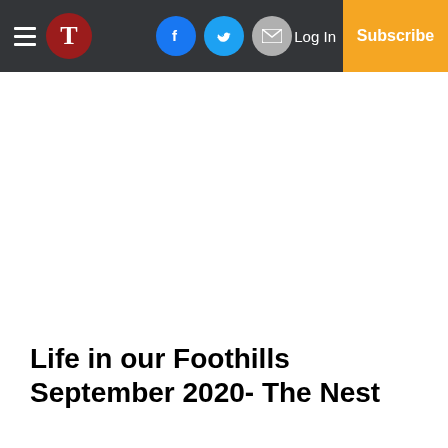T | Facebook Twitter Email Log In Subscribe
Life in our Foothills September 2020- The Nest